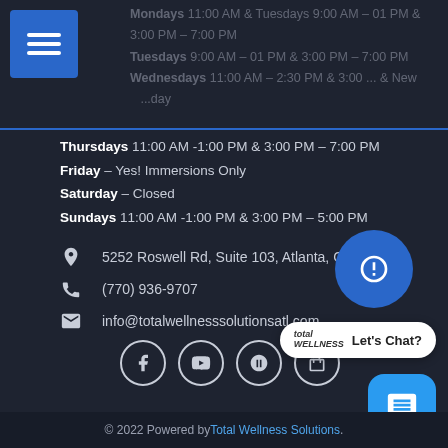Mondays 11:00 AM & Tuesdays 9:00 AM – 01 PM & 3:00 PM – 7:00 PM Wednesdays 11:00 AM – 2:30 PM & 3:00 ... (faded header text)
Thursdays 11:00 AM -1:00 PM & 3:00 PM – 7:00 PM
Friday – Yes! Immersions Only
Saturday – Closed
Sundays 11:00 AM -1:00 PM & 3:00 PM – 5:00 PM
5252 Roswell Rd, Suite 103, Atlanta, GA 30342
(770) 936-9707
info@totalwellnesssolutionsatl.com
[Figure (infographic): Social media icons: Facebook, YouTube, Yelp, shopping bag]
[Figure (infographic): Chat widget with Total Wellness logo and 'Let's Chat?' button]
© 2022 Powered by Total Wellness Solutions.